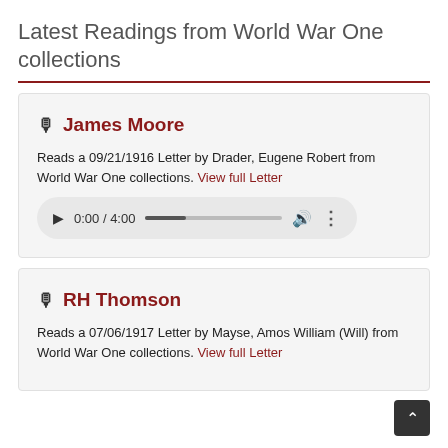Latest Readings from World War One collections
🎤 James Moore
Reads a 09/21/1916 Letter by Drader, Eugene Robert from World War One collections. View full Letter
[audio player: 0:00 / 4:00]
🎤 RH Thomson
Reads a 07/06/1917 Letter by Mayse, Amos William (Will) from World War One collections. View full Letter